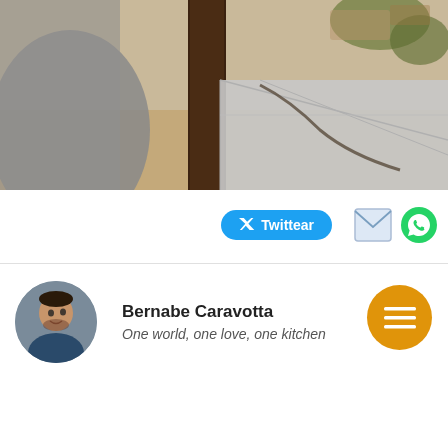[Figure (photo): Outdoor photo showing a partial view of a person or structure on the left, a wooden pole in the center, and a blurred outdoor scene with plants and furniture in the background.]
[Figure (infographic): Share buttons row: a blue Twitter 'Twittear' button, a light blue email envelope icon, and a green WhatsApp icon.]
Bernabe Caravotta
One world, one love, one kitchen